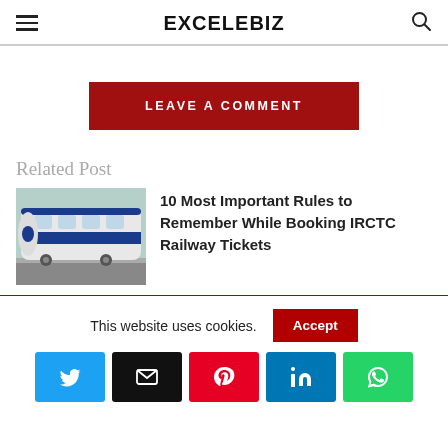EXCELEBIZ
LEAVE A COMMENT
Related Post
[Figure (photo): Photo of a modern Indian Vande Bharat train with blue and white livery at a station platform]
10 Most Important Rules to Remember While Booking IRCTC Railway Tickets
This website uses cookies.
Accept